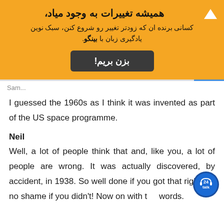[Figure (infographic): Orange banner advertisement in Persian/Farsi with bold title text, subtitle, and a dark button labeled 'بزن بریم!' with an up-arrow icon in the top right.]
Sam...
I guessed the 1960s as I think it was invented as part of the US space programme.
Neil
Well, a lot of people think that and, like you, a lot of people are wrong. It was actually discovered, by accident, in 1938. So well done if you got that right but no shame if you didn't! Now on with the words.